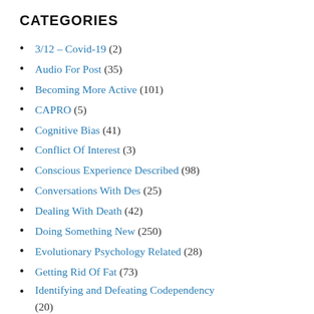CATEGORIES
3/12 – Covid-19 (2)
Audio For Post (35)
Becoming More Active (101)
CAPRO (5)
Cognitive Bias (41)
Conflict Of Interest (3)
Conscious Experience Described (98)
Conversations With Des (25)
Dealing With Death (42)
Doing Something New (250)
Evolutionary Psychology Related (28)
Getting Rid Of Fat (73)
Identifying and Defeating Codependency (20)
Improving General Wellness (67)